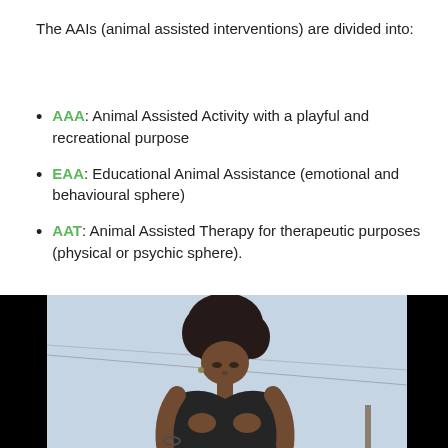The AAIs (animal assisted interventions) are divided into:
AAA: Animal Assisted Activity with a playful and recreational purpose
EAA: Educational Animal Assistance (emotional and behavioural sphere)
AAT: Animal Assisted Therapy for therapeutic purposes (physical or psychic sphere).
[Figure (photo): A woman with long dark curly hair wearing a black sleeveless top, looking down, standing outdoors against a light sky background with cables visible. The image has black bars on the left and right sides (letterboxed).]